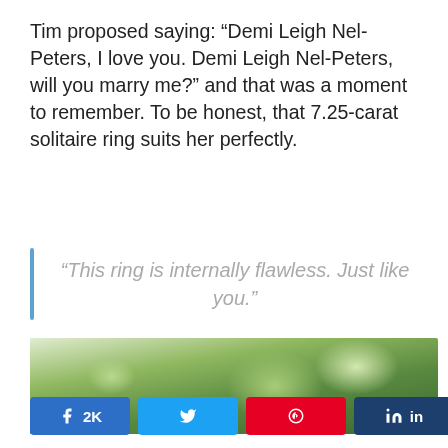Tim proposed saying: “Demi Leigh Nel-Peters, I love you. Demi Leigh Nel-Peters, will you marry me?” and that was a moment to remember. To be honest, that 7.25-carat solitaire ring suits her perfectly.
“This ring is internally flawless. Just like you.”
[Figure (photo): Outdoor photo showing trees with green foliage against a light sky]
2K  SHARES